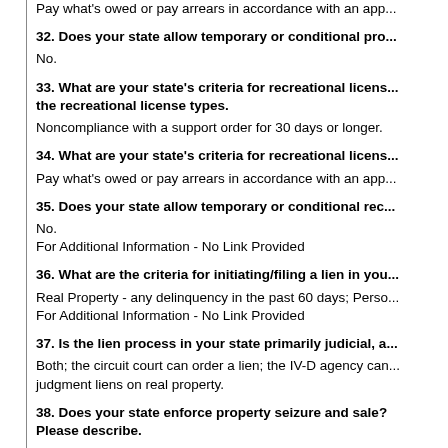Pay what's owed or pay arrears in accordance with an app...
32. Does your state allow temporary or conditional pro...
No.
33. What are your state's criteria for recreational licens... the recreational license types.
Noncompliance with a support order for 30 days or longer.
34. What are your state's criteria for recreational licens...
Pay what's owed or pay arrears in accordance with an app...
35. Does your state allow temporary or conditional rec...
No.
For Additional Information - No Link Provided
36. What are the criteria for initiating/filing a lien in you...
Real Property - any delinquency in the past 60 days; Perso...
For Additional Information - No Link Provided
37. Is the lien process in your state primarily judicial, a...
Both; the circuit court can order a lien; the IV-D agency car... judgment liens on real property.
38. Does your state enforce property seizure and sale? Please describe.
NO.